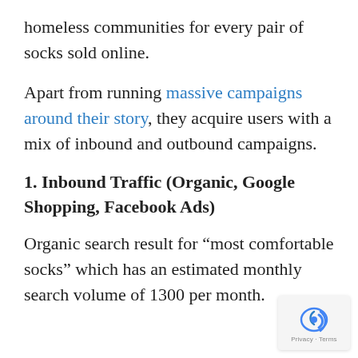homeless communities for every pair of socks sold online.
Apart from running massive campaigns around their story, they acquire users with a mix of inbound and outbound campaigns.
1. Inbound Traffic (Organic, Google Shopping, Facebook Ads)
Organic search result for “most comfortable socks” which has an estimated monthly search volume of 1300 per month.